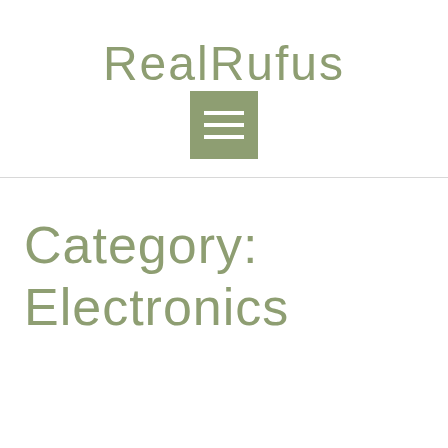RealRufus
[Figure (other): Hamburger menu icon — a green/olive square button with three white horizontal bars]
Category: Electronics